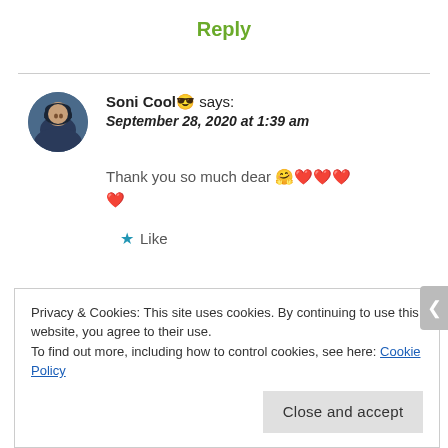Reply
Soni Cool😎 says: September 28, 2020 at 1:39 am
Thank you so much dear 🤗❤️❤️❤️❤️
★ Like
Privacy & Cookies: This site uses cookies. By continuing to use this website, you agree to their use.
To find out more, including how to control cookies, see here: Cookie Policy
Close and accept